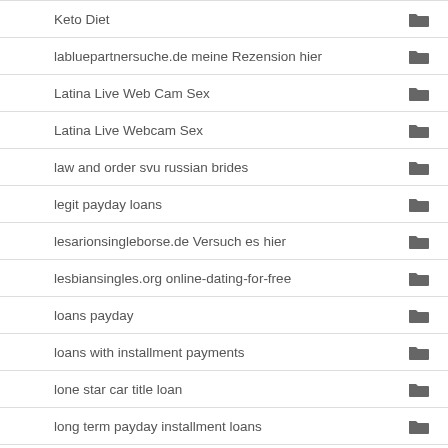Keto Diet
labluepartnersuche.de meine Rezension hier
Latina Live Web Cam Sex
Latina Live Webcam Sex
law and order svu russian brides
legit payday loans
lesarionsingleborse.de Versuch es hier
lesbiansingles.org online-dating-for-free
loans payday
loans with installment payments
lone star car title loan
long term payday installment loans